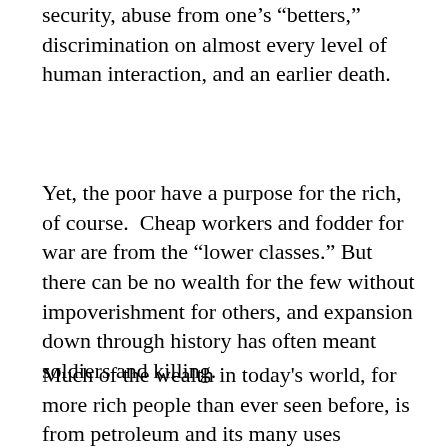security, abuse from one’s “betters,” discrimination on almost every level of human interaction, and an earlier death.
Yet, the poor have a purpose for the rich, of course.  Cheap workers and fodder for war are from the “lower classes.” But there can be no wealth for the few without impoverishment for others, and expansion down through history has often meant soldiers and killing.
Much of the wealth in today's world, for more rich people than ever seen before, is from petroleum and its many uses throughout the economy.